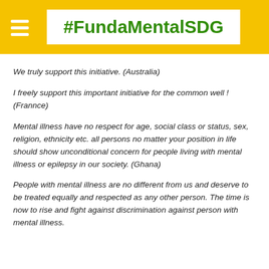#FundaMentalSDG
We truly support this initiative.  (Australia)
I freely support this important initiative for the common well ! (Frannce)
Mental illness have no respect for age, social class or status, sex, religion, ethnicity etc. all persons no matter your position in life should show unconditional concern for people living with mental illness or epilepsy in our society. (Ghana)
People with mental illness are no different from us and deserve to be treated equally and respected as any other person. The time is now to rise and fight against discrimination against person with mental illness.